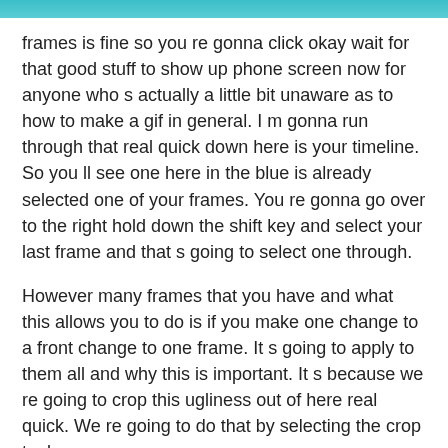frames is fine so you re gonna click okay wait for that good stuff to show up phone screen now for anyone who s actually a little bit unaware as to how to make a gif in general. I m gonna run through that real quick down here is your timeline. So you ll see one here in the blue is already selected one of your frames. You re gonna go over to the right hold down the shift key and select your last frame and that s going to select one through.
However many frames that you have and what this allows you to do is if you make one change to a front change to one frame. It s going to apply to them all and why this is important. It s because we re going to crop this ugliness out of here real quick. We re going to do that by selecting the crop tool.
Which is over here on your left. Where my mouse is then we re going to just basically pull click and drag everything